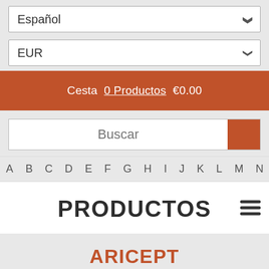Español
EUR
Cesta  0 Productos  €0.00
Buscar
A B C D E F G H I J K L M N O P
PRODUCTOS
ARICEPT
Aricept es utilizado para el tratamiento de la